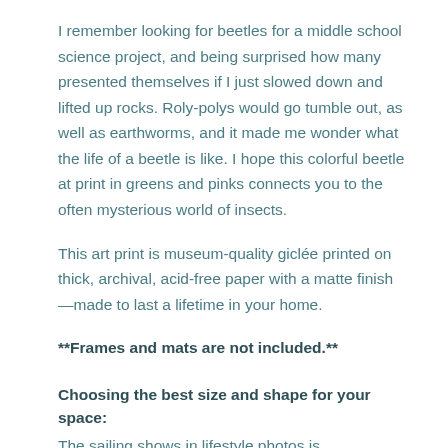I remember looking for beetles for a middle school science project, and being surprised how many presented themselves if I just slowed down and lifted up rocks. Roly-polys would go tumble out, as well as earthworms, and it made me wonder what the life of a beetle is like. I hope this colorful beetle at print in greens and pinks connects you to the often mysterious world of insects.
This art print is museum-quality giclée printed on thick, archival, acid-free paper with a matte finish—made to last a lifetime in your home.
**Frames and mats are not included.**
Choosing the best size and shape for your space:
The sailing shows in lifestyle photos is approximate